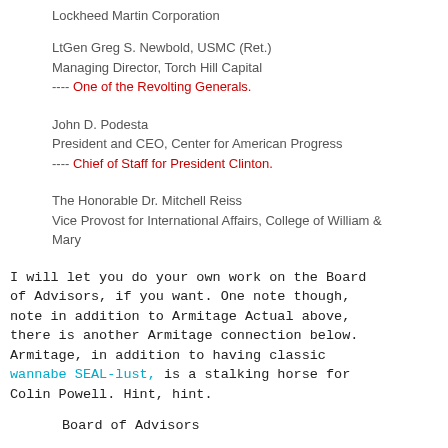Lockheed Martin Corporation
LtGen Greg S. Newbold, USMC (Ret.)
Managing Director, Torch Hill Capital
---- One of the Revolting Generals.
John D. Podesta
President and CEO, Center for American Progress
---- Chief of Staff for President Clinton.
The Honorable Dr. Mitchell Reiss
Vice Provost for International Affairs, College of William & Mary
I will let you do your own work on the Board of Advisors, if you want. One note though, note in addition to Armitage Actual above, there is another Armitage connection below. Armitage, in addition to having classic wannabe SEAL-lust, is a stalking horse for Colin Powell. Hint, hint.
Board of Advisors